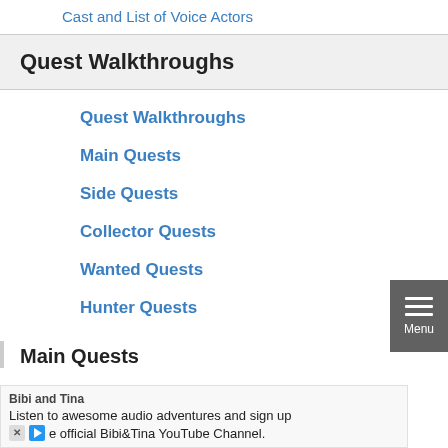Cast and List of Voice Actors
Quest Walkthroughs
Quest Walkthroughs
Main Quests
Side Quests
Collector Quests
Wanted Quests
Hunter Quests
Main Quests
Bibi and Tina
Listen to awesome audio adventures and sign up
e official Bibi&Tina YouTube Channel.